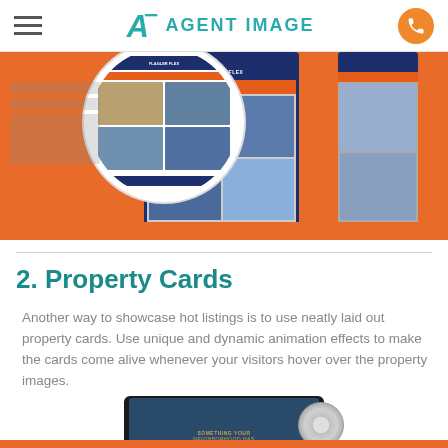Agent Image
[Figure (screenshot): Screenshot of a real estate website showing property listings with an orange background and a zoomed-in circular overlay showing property cards with photos and search functionality, displayed on a tablet device.]
2. Property Cards
Another way to showcase hot listings is to use neatly laid out property cards. Use unique and dynamic animation effects to make the cards come alive whenever your visitors hover over the property images.
[Figure (screenshot): A laptop/tablet device showing a real estate website with property images, partially visible at the bottom of the page.]